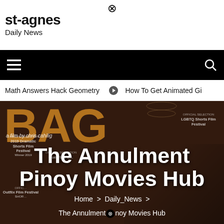⊗
st-agnes
Daily News
[Figure (other): Navigation bar with hamburger menu icon on left and search icon on right, black background]
Math Answers Hack Geometry  ➔  How To Get Animated Gi
[Figure (other): Hero image with film poster background showing BAG letters in orange/gold, film laurel wreaths, people in background. Text overlay: The Annulment Pinoy Movies Hub. Breadcrumb: Home > Daily_News > The Annulment⊗noy Movies Hub]
The Annulment Pinoy Movies Hub
Home > Daily_News >
The Annulment⊗noy Movies Hub